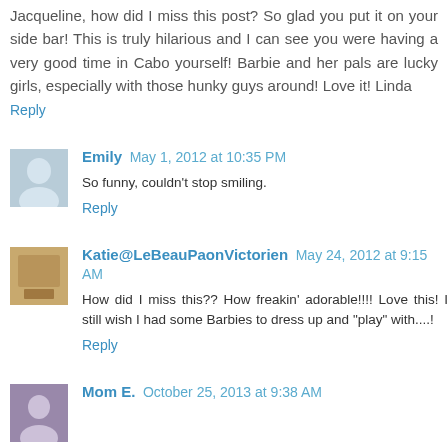Jacqueline, how did I miss this post? So glad you put it on your side bar! This is truly hilarious and I can see you were having a very good time in Cabo yourself! Barbie and her pals are lucky girls, especially with those hunky guys around! Love it! Linda
Reply
Emily  May 1, 2012 at 10:35 PM
So funny, couldn't stop smiling.
Reply
Katie@LeBeauPaonVictorien  May 24, 2012 at 9:15 AM
How did I miss this?? How freakin' adorable!!!! Love this! I still wish I had some Barbies to dress up and "play" with....!
Reply
Mom E.  October 25, 2013 at 9:38 AM